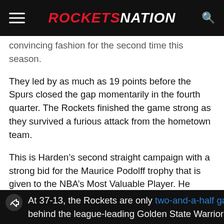ROCKETS NATION
convincing fashion for the second time this season.
They led by as much as 19 points before the Spurs closed the gap momentarily in the fourth quarter. The Rockets finished the game strong as they survived a furious attack from the hometown team.
This is Harden’s second straight campaign with a strong bid for the Maurice Podolff trophy that is given to the NBA’s Most Valuable Player. He placed second to Russell Westbrook last year.
Harden is averaging 31.6 points, 5.0 rebounds, 9.1 assists, and 1.9 steals per game while shooting 38.6 percent from 3-point range. He is leading the charge for a Houston team that is a serious contender for the NBA title.
37-13, the Rockets are only two-and-a-half games behind the league-leading Golden State Warriors who have